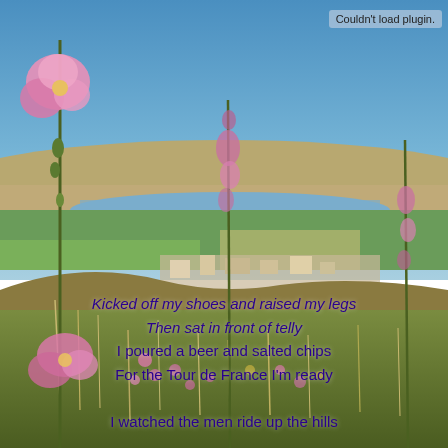[Figure (photo): Outdoor hillside landscape photo with tall pink hollyhock flowers in the foreground, a panoramic view of a valley with a river, green fields, and a town in the middle distance, and rolling brown hills and blue sky in the background.]
Couldn't load plugin.
Kicked off my shoes and raised my legs
Then sat in front of telly
I poured a beer and salted chips
For the Tour de France I'm ready

I watched the men ride up the hills